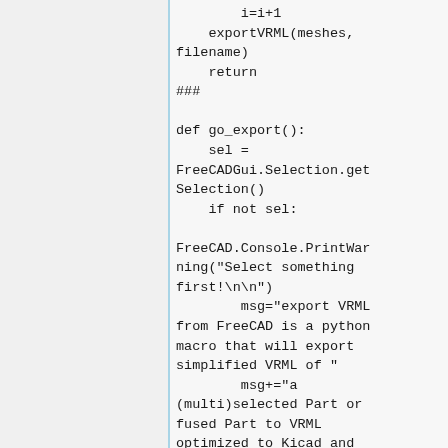i=i+1
    exportVRML(meshes,
filename)
    return
###

def go_export():
    sel =
FreeCADGui.Selection.get
Selection()
    if not sel:

FreeCAD.Console.PrintWar
ning("Select something
first!\n\n")
        msg="export VRML
from FreeCAD is a python
macro that will export
simplified VRML of "
        msg+="a
(multi)selected Part or
fused Part to VRML
optimized to Kicad and